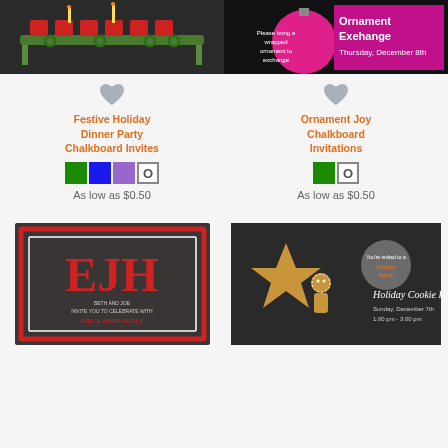[Figure (photo): Festive Holiday Dinner Party Chalkboard invitation image with colorful chairs around a decorated table on dark background]
[Figure (photo): Ornament Exchange chalkboard invitation with pink ornament and text on dark background]
[Figure (illustration): Gray heart/favorite icon for Festive Holiday Dinner Party Chalkboard Invites]
Festive Holiday Dinner Party Chalkboard Invites
[Figure (illustration): Color swatches: green, blue, purple, O (outline/custom)]
As low as $0.50
[Figure (illustration): Gray heart/favorite icon for Ornament Joy Chalkboard Invitations]
Ornament Joy Chalkboard Invitations
[Figure (illustration): Color swatches: green, O (outline/custom)]
As low as $0.50
[Figure (photo): EJH monogram chalkboard invitation card with red border, showing initials and text 'Beth and Joe invite you to celebrate with Erick Hernandez']
[Figure (photo): Holiday Cookie Party invitation with gingerbread cookies and text 'You're invited to a Holiday Cookie Party, Sunday December 7th, 1:00 pm - 3:00 pm']